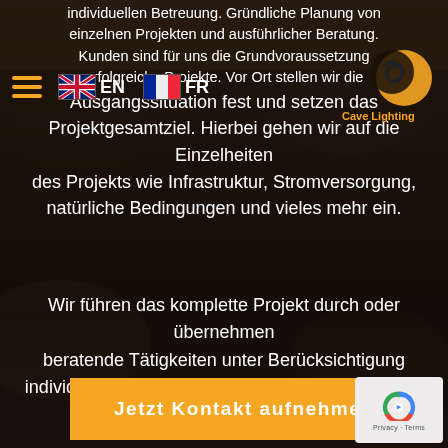[Figure (screenshot): Dark cave/rock background image with dim brownish-black texture]
Navigation bar with hamburger menu, EN (UK flag) and FR (French flag) language selectors, and Cave Lighting logo top right
individuellen Betreuung. Gründliche Planung von einzelnen Projekten und ausführlicher Beratung. Kunden sind für uns die Grundvoraussetzung erfolgreiche Projekte. Vor Ort stellen wir die Ausgangssituation fest und setzen das Projektgesamtziel. Hierbei gehen wir auf die Einzelheiten des Projekts wie Infrastruktur, Stromversorgung, natürliche Bedingungen und vieles mehr ein.
Wir führen das komplette Projekt durch oder übernehmen beratende Tätigkeiten unter Berücksichtigung individueller Wünsche unserer Kunden und geben professionelle Hilfestellung.
Jetzt Kontakt aufnehmen
[Figure (logo): reCAPTCHA badge with recaptcha icon and Privacy - Terms text]